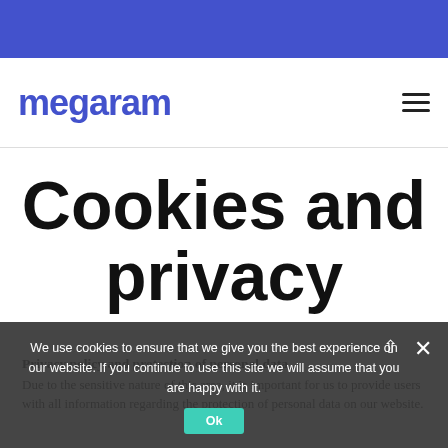[Figure (logo): Megaram logo — blue bold text on white background with blue top banner and hamburger menu icon]
Cookies and privacy
Privacy policy and protection of personal data
Due to the sensitive nature of this area, it is important for us to provide users with all information regarding the protection of personal data on our website.
We use cookies to ensure that we give you the best experience on our website. If you continue to use this site we will assume that you are happy with it.